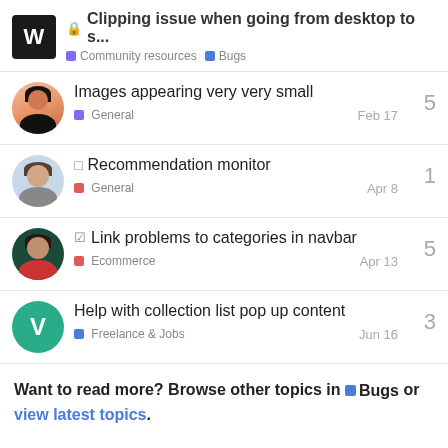🔒 Clipping issue when going from desktop to s... | Community resources | Bugs
Images appearing very very small | General | Feb 17 | 5 replies
□ Recommendation monitor | General | Apr 8 | 1 reply
☑ Link problems to categories in navbar | Ecommerce | Apr 13 | 5 replies
Help with collection list pop up content | Freelance & Jobs | Jun 16 | 3 replies
Want to read more? Browse other topics in Bugs or view latest topics.